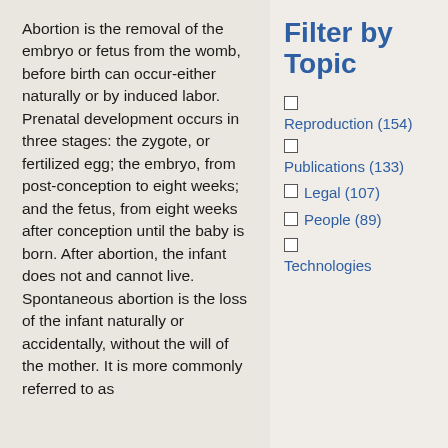Abortion is the removal of the embryo or fetus from the womb, before birth can occur-either naturally or by induced labor. Prenatal development occurs in three stages: the zygote, or fertilized egg; the embryo, from post-conception to eight weeks; and the fetus, from eight weeks after conception until the baby is born. After abortion, the infant does not and cannot live. Spontaneous abortion is the loss of the infant naturally or accidentally, without the will of the mother. It is more commonly referred to as
Filter by Topic
Reproduction (154)
Publications (133)
Legal (107)
People (89)
Technologies